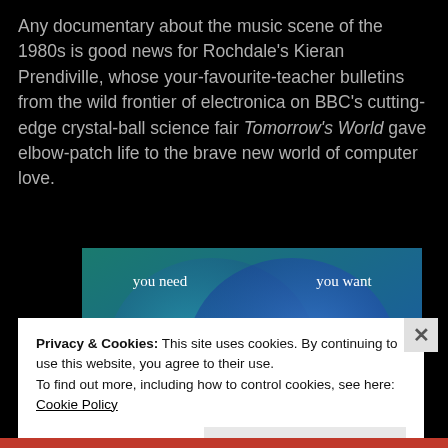Any documentary about the music scene of the 1980s is good news for Rochdale's Kieran Prendiville, whose your-favourite-teacher bulletins from the wild frontier of electronica on BBC's cutting-edge crystal-ball science fair Tomorrow's World gave elbow-patch life to the brave new world of computer love.
[Figure (illustration): Two overlapping circles (Venn diagram) on a blue/teal gradient background. Left circle labeled 'you need', right circle labeled 'you want'.]
Privacy & Cookies: This site uses cookies. By continuing to use this website, you agree to their use.
To find out more, including how to control cookies, see here: Cookie Policy
Close and accept